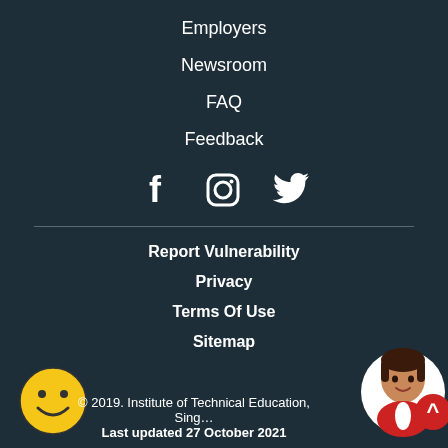Employers
Newsroom
FAQ
Feedback
[Figure (illustration): Social media icons: Facebook, Instagram, Twitter]
Report Vulnerability
Privacy
Terms Of Use
Sitemap
© 2019. Institute of Technical Education, Sing… Last updated 27 October 2021
[Figure (illustration): Yellow smiley face icon in bottom left corner]
[Figure (illustration): Chatbot avatar (woman with dark hair, red jacket) with red button, bottom right corner]